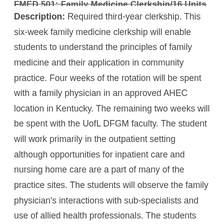FMED 501: Family Medicine Clerkship/16 Units
Description: Required third-year clerkship. This six-week family medicine clerkship will enable students to understand the principles of family medicine and their application in community practice. Four weeks of the rotation will be spent with a family physician in an approved AHEC location in Kentucky. The remaining two weeks will be spent with the UofL DFGM faculty. The student will work primarily in the outpatient setting although opportunities for inpatient care and nursing home care are a part of many of the practice sites. The students will observe the family physician's interactions with sub-specialists and use of allied health professionals. The students will gain an appreciation of different